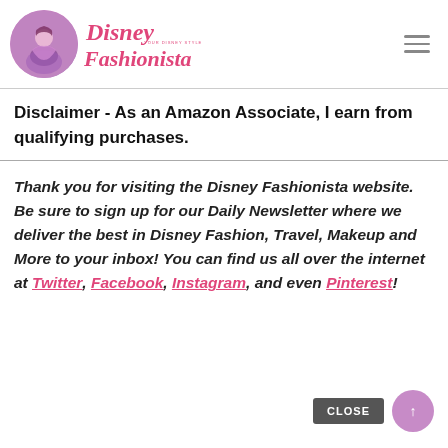[Figure (logo): Disney Fashionista logo with circular illustration of a Disney princess character and stylized pink script text]
Disclaimer - As an Amazon Associate, I earn from qualifying purchases.
Thank you for visiting the Disney Fashionista website. Be sure to sign up for our Daily Newsletter where we deliver the best in Disney Fashion, Travel, Makeup and More to your inbox! You can find us all over the internet at Twitter, Facebook, Instagram, and even Pinterest!